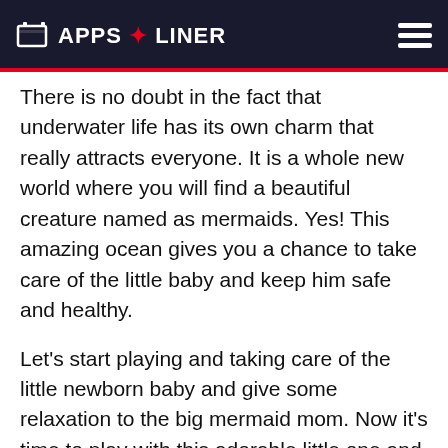APPS LINER
There is no doubt in the fact that underwater life has its own charm that really attracts everyone. It is a whole new world where you will find a beautiful creature named as mermaids. Yes! This amazing ocean gives you a chance to take care of the little baby and keep him safe and healthy.
Let's start playing and taking care of the little newborn baby and give some relaxation to the big mermaid mom. Now it's time to play with this adorable little one and enjoy lots of fun activities underwater.
It is a fun baby care game and you need to start caring for the little newborn in this virtual ocean world. Underwater princess mermaid gave birth to a cute child. It is now your duty to take great care of him and raise him with the best of health.
Provide him with proper food and give bath properly so the cute